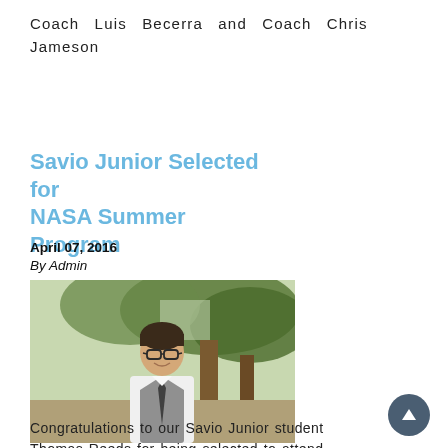Coach Luis Becerra and Coach Chris Jameson
Savio Junior Selected for NASA Summer Program
April 07, 2016
By Admin
[Figure (photo): A young male student wearing glasses, a white shirt, grey vest, and dark tie, smiling outdoors with trees in the background.]
Congratulations to our Savio Junior student Thomas Reeds for being selected to attend